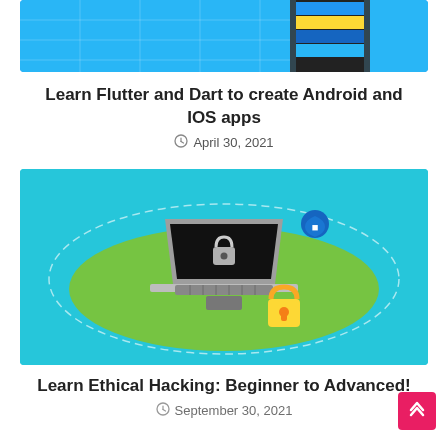[Figure (illustration): Smartphone with colorful horizontal stripes on a blue background - Flutter/Dart app development illustration (top portion visible)]
Learn Flutter and Dart to create Android and IOS apps
April 30, 2021
[Figure (illustration): Laptop with a security lock on screen sitting on a green oval, with a yellow padlock in front and a blue shield icon — ethical hacking illustration, on teal/cyan background]
Learn Ethical Hacking: Beginner to Advanced!
September 30, 2021